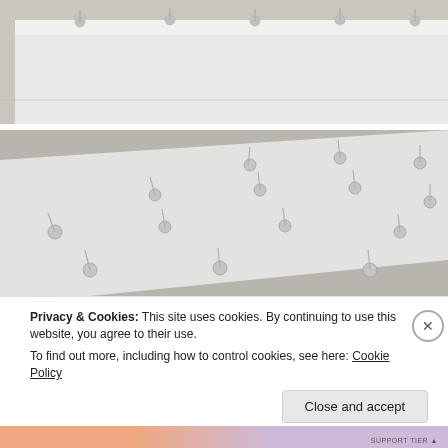[Figure (photo): Close-up photo of white rectangular box or surface with metal screws or nails protruding from the top edge, viewed from the side]
[Figure (photo): Top-down angled view of a white flat surface with multiple silver metal screws or nails inserted around the perimeter in a grid pattern]
Privacy & Cookies: This site uses cookies. By continuing to use this website, you agree to their use.
To find out more, including how to control cookies, see here: Cookie Policy